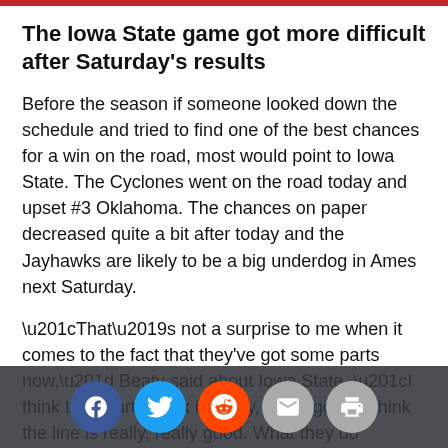The Iowa State game got more difficult after Saturday's results
Before the season if someone looked down the schedule and tried to find one of the best chances for a win on the road, most would point to Iowa State. The Cyclones went on the road today and upset #3 Oklahoma. The chances on paper decreased quite a bit after today and the Jayhawks are likely to be a big underdog in Ames next Saturday.
“That’s not a surprise to me when it comes to the fact that they've got some parts now,” Beaty said about Iowa State. “I think the quarterback is really, really good. I think the line is really, really good. What they do schematically is very, very tough. It’s tough to defend. They do a good job defensively. Matt does a great job. It’s going to be a challenge for everybody.”
[Figure (other): Social sharing toolbar with Facebook, Twitter, Reddit, email, and print buttons overlaid at the bottom of the page]